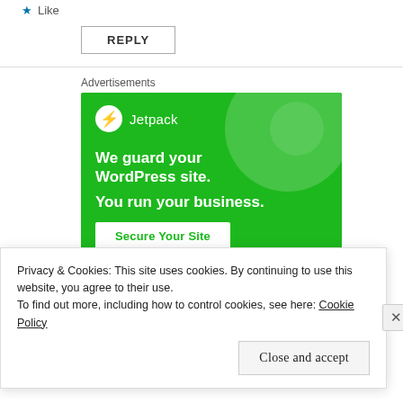Like
REPLY
Advertisements
[Figure (screenshot): Jetpack advertisement banner with green background. Shows Jetpack logo (lightning bolt in white circle) with text 'We guard your WordPress site. You run your business.' and a 'Secure Your Site' button.]
Privacy & Cookies: This site uses cookies. By continuing to use this website, you agree to their use.
To find out more, including how to control cookies, see here: Cookie Policy
Close and accept